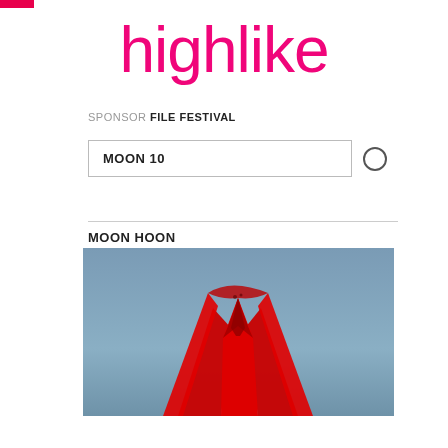highlike
SPONSOR FILE FESTIVAL
MOON 10
MOON HOON
[Figure (photo): Red sculptural structure against a blue-grey sky, viewed from below. The sculpture has sharp, wing-like red metal forms converging at the top.]